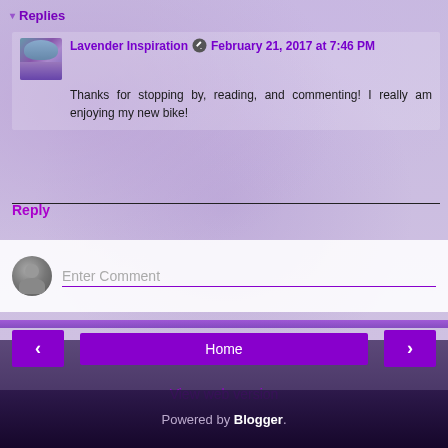▾ Replies
Lavender Inspiration ✎ February 21, 2017 at 7:46 PM
Thanks for stopping by, reading, and commenting! I really am enjoying my new bike!
Reply
Enter Comment
‹
Home
›
View web version
Powered by Blogger.